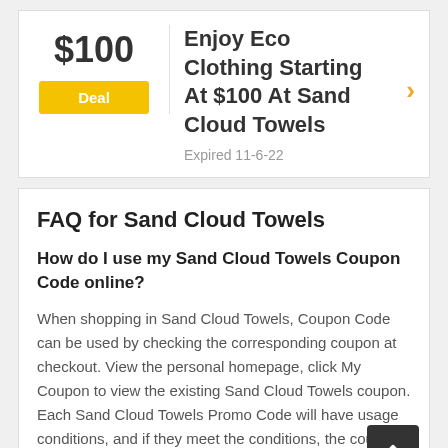$100
Deal
Enjoy Eco Clothing Starting At $100 At Sand Cloud Towels
Expired 11-6-22
FAQ for Sand Cloud Towels
How do I use my Sand Cloud Towels Coupon Code online?
When shopping in Sand Cloud Towels, Coupon Code can be used by checking the corresponding coupon at checkout. View the personal homepage, click My Coupon to view the existing Sand Cloud Towels coupon. Each Sand Cloud Towels Promo Code will have usage conditions, and if they meet the conditions, the coupon can be used.